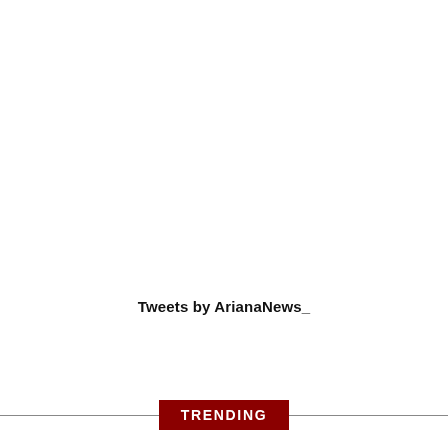Tweets by ArianaNews_
TRENDING